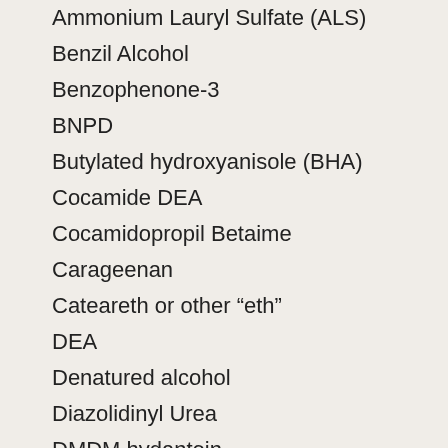Ammonium Lauryl Sulfate (ALS)
Benzil Alcohol
Benzophenone-3
BNPD
Butylated hydroxyanisole (BHA)
Cocamide DEA
Cocamidopropil Betaime
Carageenan
Cateareth or other “eth”
DEA
Denatured alcohol
Diazolidinyl Urea
DMDM hydantoin
“-eth-” ingredients
Fluoride – Sodium monofluorophosphate,-